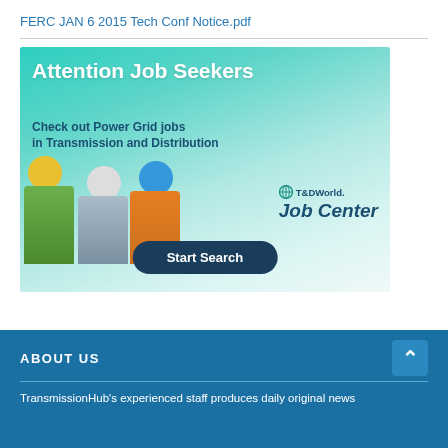FERC JAN 6 2015 Tech Conf Notice.pdf
[Figure (illustration): Advertisement banner for T&DWorld Job Center showing three workers in hard hats and safety vests with text 'Attention Job Seekers - Check out Power Grid jobs in Transmission and Distribution' and a 'Start Search' button]
ABOUT US
TransmissionHub's experienced staff produces daily original news